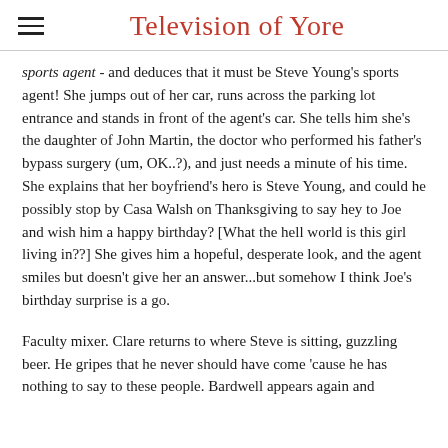Television of Yore
sports agent - and deduces that it must be Steve Young's sports agent! She jumps out of her car, runs across the parking lot entrance and stands in front of the agent's car. She tells him she's the daughter of John Martin, the doctor who performed his father's bypass surgery (um, OK..?), and just needs a minute of his time. She explains that her boyfriend's hero is Steve Young, and could he possibly stop by Casa Walsh on Thanksgiving to say hey to Joe and wish him a happy birthday? [What the hell world is this girl living in??] She gives him a hopeful, desperate look, and the agent smiles but doesn't give her an answer...but somehow I think Joe's birthday surprise is a go.
Faculty mixer. Clare returns to where Steve is sitting, guzzling beer. He gripes that he never should have come 'cause he has nothing to say to these people. Bardwell appears again and